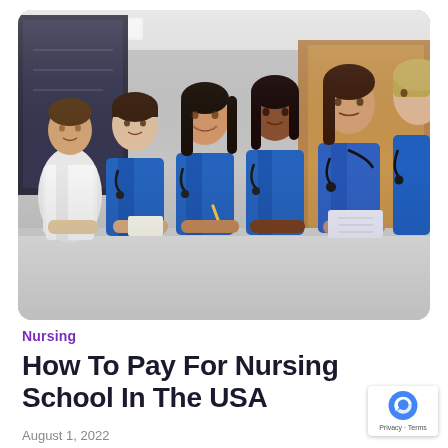[Figure (photo): Group of nursing students and a doctor in white coat sitting at a table in a classroom or conference room, wearing blue scrubs with stethoscopes, appearing to attend a lecture or training session. The room has a whiteboard and warm wood-paneled wall in the background.]
Nursing
How To Pay For Nursing School In The USA
August 1, 2022